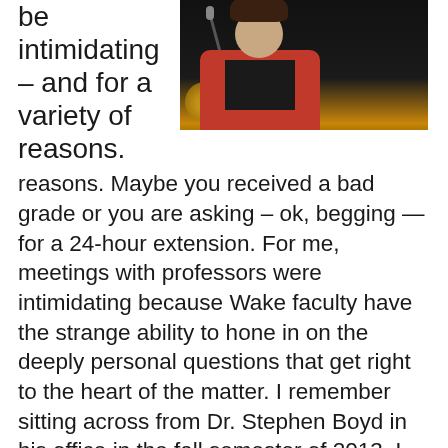be intimidating – and for a variety of reasons.
[Figure (photo): A woman in a red cardigan speaking at a podium with a microphone, photographed against a dark background with golden objects visible.]
reasons. Maybe you received a bad grade or you are asking – ok, begging — for a 24-hour extension. For me, meetings with professors were intimidating because Wake faculty have the strange ability to hone in on the deeply personal questions that get right to the heart of the matter. I remember sitting across from Dr. Stephen Boyd in his office in the fall semester of 2013. I had just returned from Cherkassy, Ukraine where I had worked at an orphanage for three months to fulfill my internship requirement for my Religion and Public Engagement Concentration. Surrounded by books and